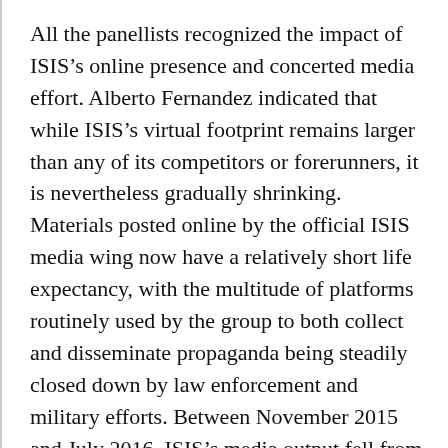All the panellists recognized the impact of ISIS's online presence and concerted media effort. Alberto Fernandez indicated that while ISIS's virtual footprint remains larger than any of its competitors or forerunners, it is nevertheless gradually shrinking. Materials posted online by the official ISIS media wing now have a relatively short life expectancy, with the multitude of platforms routinely used by the group to both collect and disseminate propaganda being steadily closed down by law enforcement and military efforts. Between November 2015 and July 2016, ISIS's media output fell from an average of 62 to 21 items a day, according to independent researcher Charlie Winter. Complex by design, ISIS's online ecosystem aims at propagating the group's narrative, legitimizing its actions and intimidating its